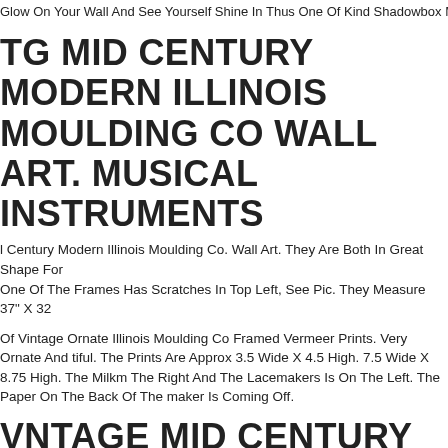Glow On Your Wall And See Yourself Shine In Thus One Of Kind Shadowbox Mi
TG MID CENTURY MODERN ILLINOIS MOULDING CO WALL ART. MUSICAL INSTRUMENTS
l Century Modern Illinois Moulding Co. Wall Art. They Are Both In Great Shape For... One Of The Frames Has Scratches In Top Left, See Pic. They Measure 37" X 32
Of Vintage Ornate Illinois Moulding Co Framed Vermeer Prints. Very Ornate And utiful. The Prints Are Approx 3.5 Wide X 4.5 High. 7.5 Wide X 8.75 High. The Milkm... The Right And The Lacemakers Is On The Left. The Paper On The Back Of The maker Is Coming Off.
VNTAGE MID CENTURY 1960S RETRO WALL ART COCKTAILS ILLINOIS MOULDING CO WOODEN P
e Are A Wooden Base. Both Pieces Have A Small Mark, Use The Photos And Zoo